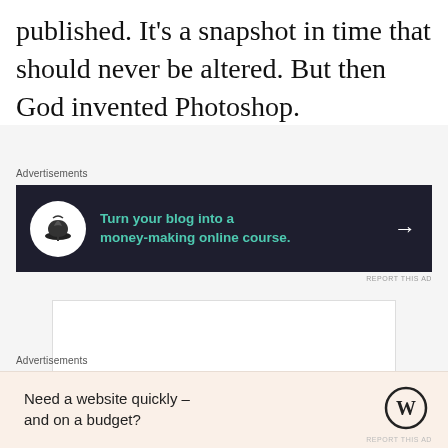published. It's a snapshot in time that should never be altered. But then God invented Photoshop.
Advertisements
[Figure (screenshot): Dark banner advertisement: circle icon with bonsai tree, teal text 'Turn your blog into a money-making online course.' with white arrow on dark background]
REPORT THIS AD
[Figure (other): Empty white rectangular advertisement placeholder box]
Advertisements
[Figure (screenshot): Light beige banner advertisement: 'Need a website quickly – and on a budget?' with WordPress logo]
REPORT THIS AD